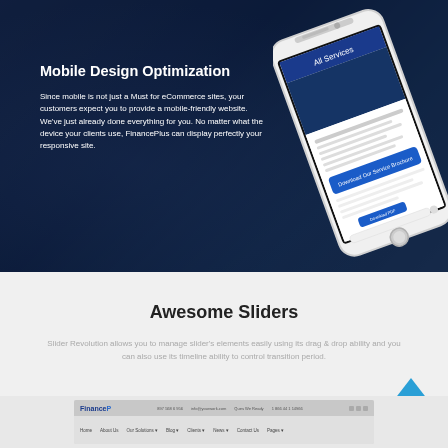[Figure (screenshot): Dark blue hero banner with a businessman silhouette in background and a white iPhone mockup showing a finance website (All Services page). The phone is tilted at an angle on the right side.]
Mobile Design Optimization
Since mobile is not just a Must for eCommerce sites, your customers expect you to provide a mobile-friendly website. We've just already done everything for you. No matter what the device your clients use, FinancePlus can display perfectly your responsive site.
Awesome Sliders
Slider Revolution allows you to manage slider's elements easily using its drag & drop ability and you can also use its timeline ability to control transition period.
[Figure (screenshot): Partial screenshot of FinancePlus website showing browser header with navigation bar and Finance logo]